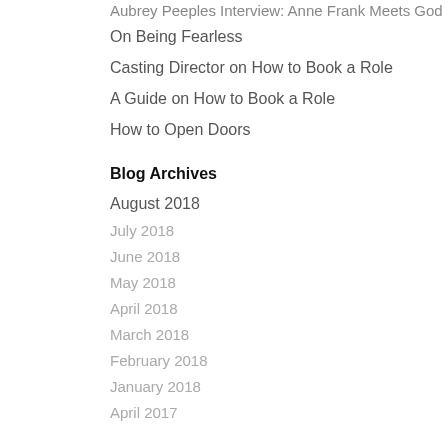Aubrey Peeples Interview: Anne Frank Meets God
On Being Fearless
Casting Director on How to Book a Role
A Guide on How to Book a Role
How to Open Doors
Blog Archives
August 2018
July 2018
June 2018
May 2018
April 2018
March 2018
February 2018
January 2018
April 2017
[Figure (screenshot): Share This modal overlay with Twitter, Facebook, and LinkedIn share buttons]